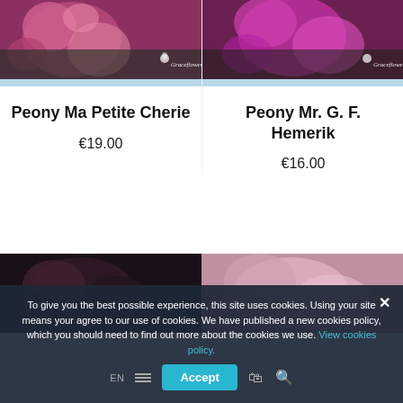[Figure (photo): Pink/magenta peony flower photo with Graceflowering watermark, left card]
[Figure (photo): Bright magenta flower photo with Graceflowering watermark, right card]
Peony Ma Petite Cherie
€19.00
Peony Mr. G. F. Hemerik
€16.00
[Figure (photo): Dark-toned peony flower photo, bottom left card]
[Figure (photo): Light pink peony flower photo, bottom right card]
To give you the best possible experience, this site uses cookies. Using your site means your agree to our use of cookies. We have published a new cookies policy, which you should need to find out more about the cookies we use. View cookies policy.